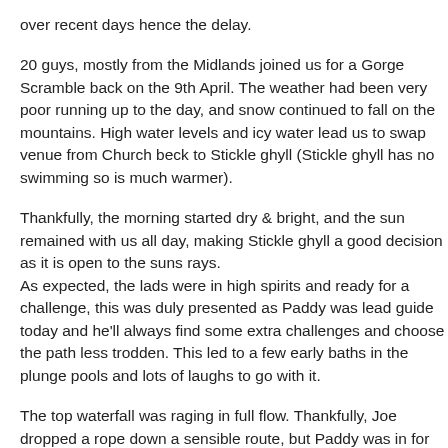over recent days hence the delay.
20 guys, mostly from the Midlands joined us for a Gorge Scramble back on the 9th April. The weather had been very poor running up to the day, and snow continued to fall on the mountains. High water levels and icy water lead us to swap venue from Church beck to Stickle ghyll (Stickle ghyll has no swimming so is much warmer).
Thankfully, the morning started dry & bright, and the sun remained with us all day, making Stickle ghyll a good decision as it is open to the suns rays.
As expected, the lads were in high spirits and ready for a challenge, this was duly presented as Paddy was lead guide today and he'll always find some extra challenges and choose the path less trodden. This led to a few early baths in the plunge pools and lots of laughs to go with it.
The top waterfall was raging in full flow. Thankfully, Joe dropped a rope down a sensible route, but Paddy was in for the adventure and dropped his rope into the full force of the water, nutter! This route saw a few successful climbs and definitely some interesting abseils to